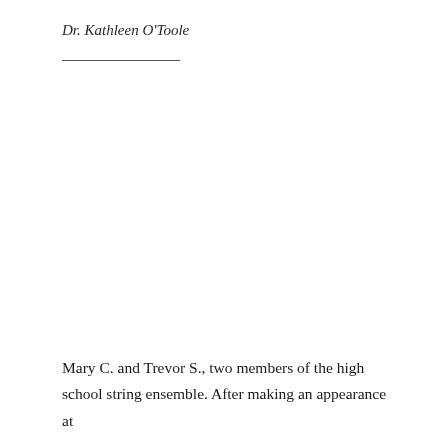Dr. Kathleen O'Toole
Mary C. and Trevor S., two members of the high school string ensemble. After making an appearance at